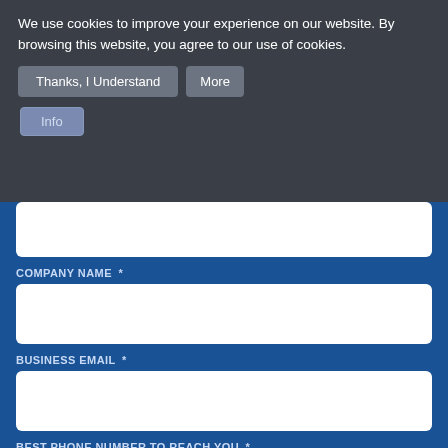We use cookies to improve your experience on our website. By browsing this website, you agree to our use of cookies.
Thanks, I Understand
More Info
COMPANY NAME *
BUSINESS EMAIL *
BEST PHONE NUMBER TO REACH YOU *
WHAT IS YOUR ROLE? *
Select One